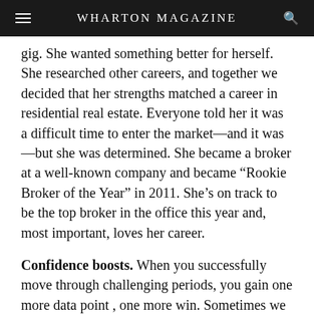WHARTON MAGAZINE
gig. She wanted something better for herself. She researched other careers, and together we decided that her strengths matched a career in residential real estate. Everyone told her it was a difficult time to enter the market—and it was—but she was determined. She became a broker at a well-known company and became “Rookie Broker of the Year” in 2011. She’s on track to be the top broker in the office this year and, most important, loves her career.
Confidence boosts. When you successfully move through challenging periods, you gain one more data point , one more win. Sometimes we need to remind ourselves of what we’ve achieved and leverage these wins to build confidence.